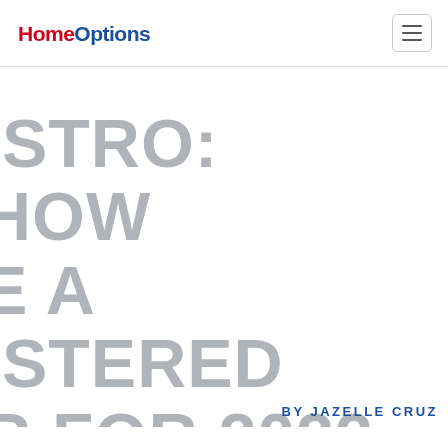HomeOptions
INTRO: HOW TO BECOME A REGISTERED VOTER FOR 2022 PHILIPPINE NATIONAL ELECTION?
BY JAZELLE CRUZ